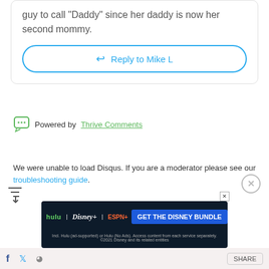guy to call “Daddy” since her daddy is now her second mommy.
Reply to Mike L
Powered by Thrive Comments
We were unable to load Disqus. If you are a moderator please see our troubleshooting guide.
[Figure (screenshot): Disney Bundle advertisement banner showing Hulu, Disney+, ESPN+ logos with GET THE DISNEY BUNDLE CTA button]
Incl. Hulu (ad-supported) or Hulu (No Ads). Access content from each service separately. ©2021 Disney and its related entities